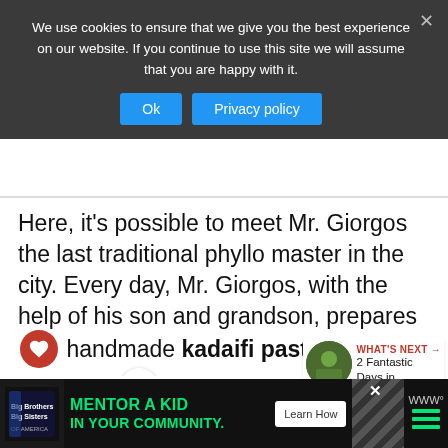We use cookies to ensure that we give you the best experience on our website. If you continue to use this site we will assume that you are happy with it.
Ok | Privacy policy
Here, it’s possible to meet Mr. Giorgos the last traditional phyllo master in the city. Every day, Mr. Giorgos, with the help of his son and grandson, prepares handmade kadaifi pastry and phyllo. A craft he has mastered since WWII.
WHAT’S NEXT → 2 Fantastic Days in...
When you visit, buy a small tray of his
[Figure (infographic): Advertisement banner: Big Brothers Big Sisters logo, text MENTOR A KID IN YOUR COMMUNITY, Learn How button, diagonal stripe pattern, weather widget]